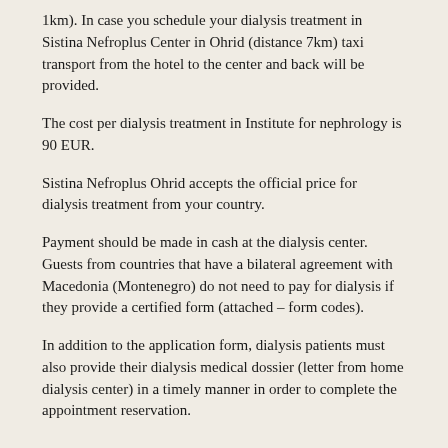1km). In case you schedule your dialysis treatment in Sistina Nefroplus Center in Ohrid (distance 7km) taxi transport from the hotel to the center and back will be provided.
The cost per dialysis treatment in Institute for nephrology is 90 EUR.
Sistina Nefroplus Ohrid accepts the official price for dialysis treatment from your country.
Payment should be made in cash at the dialysis center. Guests from countries that have a bilateral agreement with Macedonia (Montenegro) do not need to pay for dialysis if they provide a certified form (attached – form codes).
In addition to the application form, dialysis patients must also provide their dialysis medical dossier (letter from home dialysis center) in a timely manner in order to complete the appointment reservation.
PRICE AND PAYMENT METHOD FOR THE MEETING IN MACEDONIA